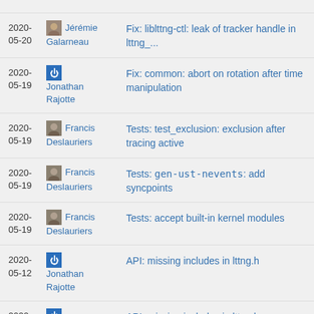2020-05-20 Jérémie Galarneau Fix: liblttng-ctl: leak of tracker handle in lttng_...
2020-05-19 Jonathan Rajotte Fix: common: abort on rotation after time manipulation
2020-05-19 Francis Deslauriers Tests: test_exclusion: exclusion after tracing active
2020-05-19 Francis Deslauriers Tests: `gen-ust-nevents`: add syncpoints
2020-05-19 Francis Deslauriers Tests: accept built-in kernel modules
2020-05-12 Jonathan Rajotte API: missing includes in lttng.h
2020- (partial)